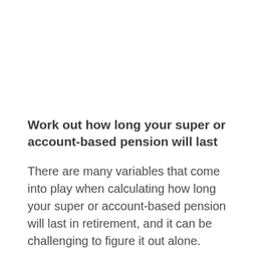Work out how long your super or account-based pension will last
There are many variables that come into play when calculating how long your super or account-based pension will last in retirement, and it can be challenging to figure it out alone.